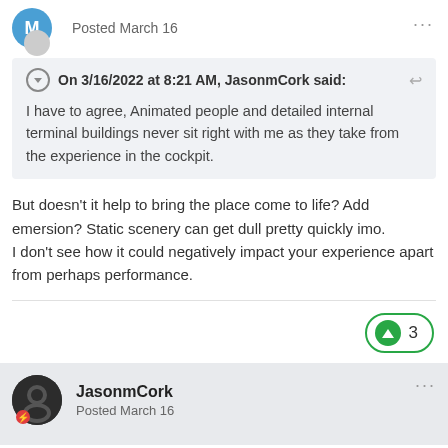Posted March 16
On 3/16/2022 at 8:21 AM, JasonmCork said:
I have to agree, Animated people and detailed internal terminal buildings never sit right with me as they take from the experience in the cockpit.
But doesn't it help to bring the place come to life? Add emersion? Static scenery can get dull pretty quickly imo.
I don't see how it could negatively impact your experience apart from perhaps performance.
3
JasonmCork
Posted March 16